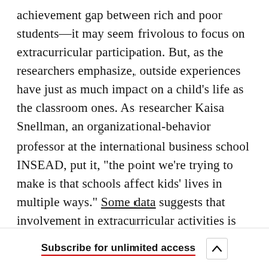achievement gap between rich and poor students—it may seem frivolous to focus on extracurricular participation. But, as the researchers emphasize, outside experiences have just as much impact on a child's life as the classroom ones. As researcher Kaisa Snellman, an organizational-behavior professor at the international business school INSEAD, put it, "the point we're trying to make is that schools affect kids' lives in multiple ways." Some data suggests that involvement in extracurricular activities is just as meaningful as test scores when it comes to subsequent educational attainment and accumulated earnings later in life.
Subscribe for unlimited access